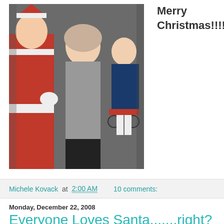[Figure (photo): Photo of a woman posing with Santa Claus and a child in a wheelchair at a Christmas event. Santa is wearing a red suit, the woman is in a gray sweater and black pants, the child is in a blue outfit.]
Merry Christmas!!!!
Michele Kovack at 2:00 AM    10 comments:
Monday, December 22, 2008
Everyone Loves Santa.......right?
Everyone loves Santa.....right? He is jolly and fat.....and brings presents........what's not to like! Well apparently a few of these kiddos weren't impressed with him! I just LOVE Santa's expression as he holds my littlest niece and nephew. I think he is thinking to himself, "Calgon take me away!!!!" (Does anyone else remember THAT commercial?!)